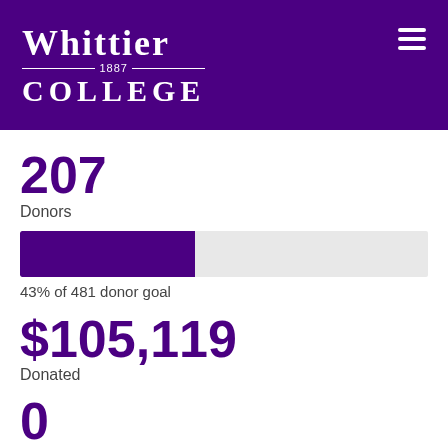[Figure (logo): Whittier College 1887 logo in white text on purple background header, with hamburger menu icon on the right]
207
Donors
[Figure (infographic): Progress bar showing 43% filled in purple, remainder in light gray]
43% of 481 donor goal
$105,119
Donated
0
Seconds
This campaign concluded on July 1, 2020 12:00pm.